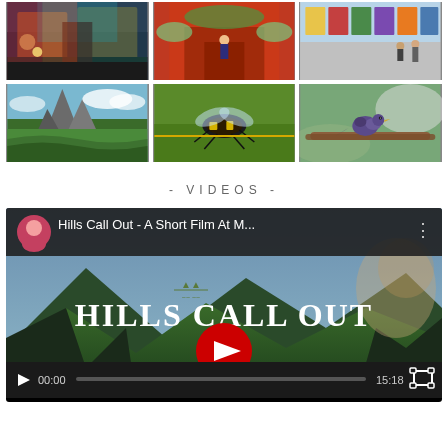[Figure (photo): Grid of 6 photos: top row shows colorful street art/mural scene, red building with flowers, outdoor art market; bottom row shows rocky mountain with green terraces, close-up of large bee on green leaf, bird on branch]
- VIDEOS -
[Figure (screenshot): YouTube video embed showing 'Hills Call Out - A Short Film At M...' with play button overlay, green mountain landscape background, Hills Call Out logo text, video controls showing 00:00 / 15:18]